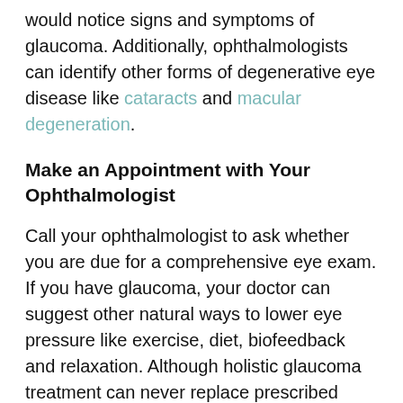would notice signs and symptoms of glaucoma. Additionally, ophthalmologists can identify other forms of degenerative eye disease like cataracts and macular degeneration.
Make an Appointment with Your Ophthalmologist
Call your ophthalmologist to ask whether you are due for a comprehensive eye exam. If you have glaucoma, your doctor can suggest other natural ways to lower eye pressure like exercise, diet, biofeedback and relaxation. Although holistic glaucoma treatment can never replace prescribed glaucoma eye drops or glaucoma medication, these therapies may delay the progression of the disease and help